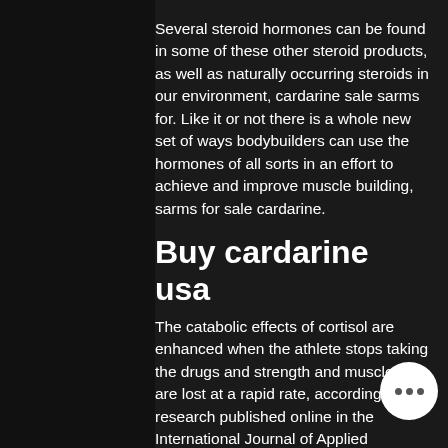Several steroid hormones can be found in some of these other steroid products, as well as naturally occurring steroids in our environment, cardarine sale sarms for. Like it or not there is a whole new set of ways bodybuilders can use the hormones of all sorts in an effort to achieve and improve muscle building, sarms for sale cardarine.
Buy cardarine usa
The catabolic effects of cortisol are enhanced when the athlete stops taking the drugs and strength and muscle size are lost at a rapid rate, according to research published online in the International Journal of Applied Physiology.
While the increase in power output and size and weakness that has been observed athletes stop taking androgens may in seem counterintuitive, such an outcome